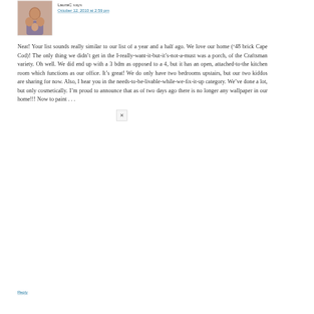[Figure (photo): Avatar photo of a family (two adults, one child) in a square bordered frame]
LauraC says
October 12, 2010 at 2:59 pm
Neat! Your list sounds really similar to our list of a year and a half ago. We love our home (‘48 brick Cape Cod)! The only thing we didn’t get in the I-really-want-it-but-it’s-not-a-must was a porch, of the Craftsman variety. Oh well. We did end up with a 3 bdm as opposed to a 4, but it has an open, attached-to-the kitchen room which functions as our office. It’s great! We do only have two bedrooms upstairs, but our two kiddos are sharing for now. Also, I hear you in the needs-to-be-livable-while-we-fix-it-up category. We’ve done a lot, but only cosmetically. I’m proud to announce that as of two days ago there is no longer any wallpaper in our home!!! Now to paint . . .
Reply